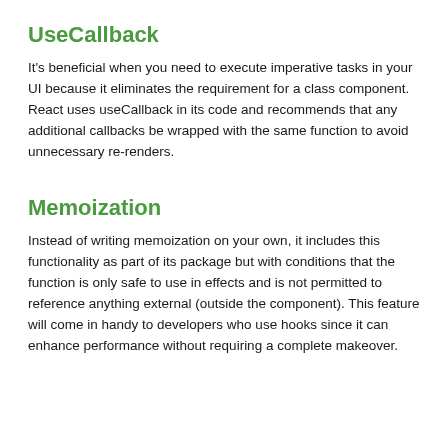UseCallback
It's beneficial when you need to execute imperative tasks in your UI because it eliminates the requirement for a class component. React uses useCallback in its code and recommends that any additional callbacks be wrapped with the same function to avoid unnecessary re-renders.
Memoization
Instead of writing memoization on your own, it includes this functionality as part of its package but with conditions that the function is only safe to use in effects and is not permitted to reference anything external (outside the component). This feature will come in handy to developers who use hooks since it can enhance performance without requiring a complete makeover.